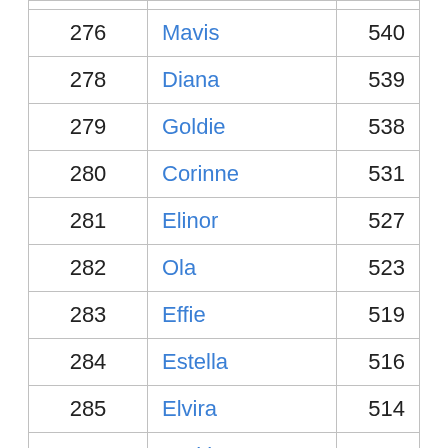| Rank | Name | Count |
| --- | --- | --- |
| 276 | Mavis | 540 |
| 278 | Diana | 539 |
| 279 | Goldie | 538 |
| 280 | Corinne | 531 |
| 281 | Elinor | 527 |
| 282 | Ola | 523 |
| 283 | Effie | 519 |
| 284 | Estella | 516 |
| 285 | Elvira | 514 |
| 286 | Jackie | 512 |
| 286 | Jimmie | 512 |